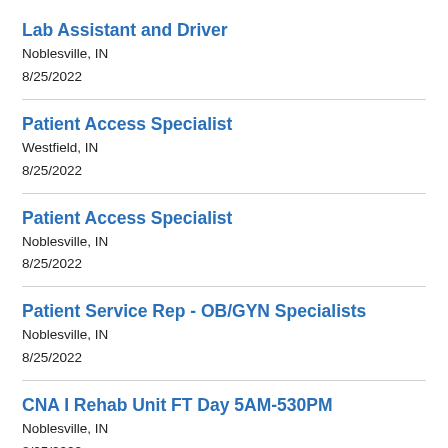Lab Assistant and Driver
Noblesville, IN
8/25/2022
Patient Access Specialist
Westfield, IN
8/25/2022
Patient Access Specialist
Noblesville, IN
8/25/2022
Patient Service Rep - OB/GYN Specialists
Noblesville, IN
8/25/2022
CNA I Rehab Unit FT Day 5AM-530PM
Noblesville, IN
8/25/2022